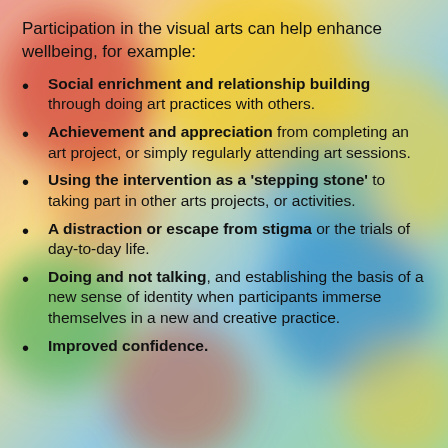Participation in the visual arts can help enhance wellbeing, for example:
Social enrichment and relationship building through doing art practices with others.
Achievement and appreciation from completing an art project, or simply regularly attending art sessions.
Using the intervention as a 'stepping stone' to taking part in other arts projects, or activities.
A distraction or escape from stigma or the trials of day-to-day life.
Doing and not talking, and establishing the basis of a new sense of identity when participants immerse themselves in a new and creative practice.
Improved confidence.